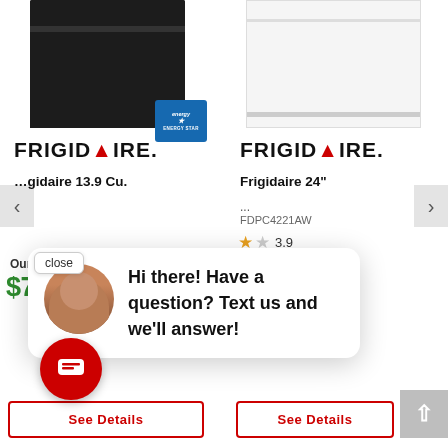[Figure (photo): Black Frigidaire refrigerator product image with Energy Star badge]
[Figure (photo): White Frigidaire refrigerator product image]
[Figure (logo): Frigidaire logo left]
[Figure (logo): Frigidaire logo right]
Frigidaire 13.9 Cu.
Frigidaire 24"
FDPC4221AW
3.9
Our Price
Our Price
$79.99
$429.99
See Details
See Details
Hi there! Have a question? Text us and we'll answer!
close